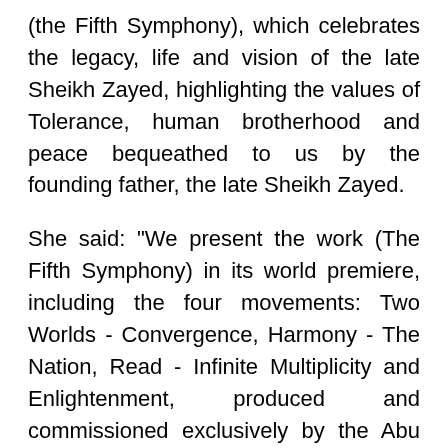(the Fifth Symphony), which celebrates the legacy, life and vision of the late Sheikh Zayed, highlighting the values of Tolerance, human brotherhood and peace bequeathed to us by the founding father, the late Sheikh Zayed.
She said: "We present the work (The Fifth Symphony) in its world premiere, including the four movements: Two Worlds - Convergence, Harmony - The Nation, Read - Infinite Multiplicity and Enlightenment, produced and commissioned exclusively by the Abu Dhabi Festival, in cooperation with the prestigious London Symphony Orchestra led by Maestro Lee Reynolds. As a contribution from us in